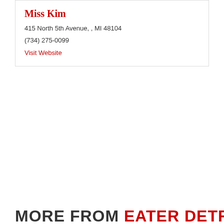Miss Kim
415 North 5th Avenue, , MI 48104
(734) 275-0099
Visit Website
MORE FROM EATER DETROIT